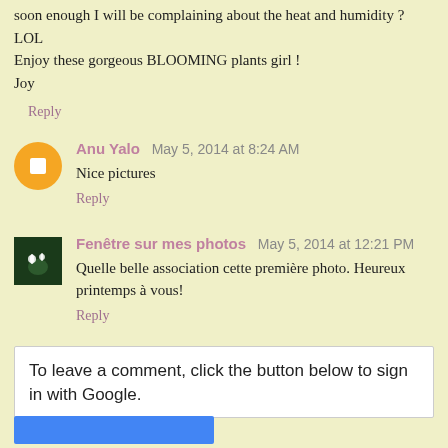slowly but surely the weather is giving way here in Kingston… soon enough I will be complaining about the heat and humidity ? LOL
Enjoy these gorgeous BLOOMING plants girl !
Joy
Reply
Anu Yalo  May 5, 2014 at 8:24 AM
Nice pictures
Reply
Fenêtre sur mes photos  May 5, 2014 at 12:21 PM
Quelle belle association cette première photo. Heureux printemps à vous!
Reply
To leave a comment, click the button below to sign in with Google.